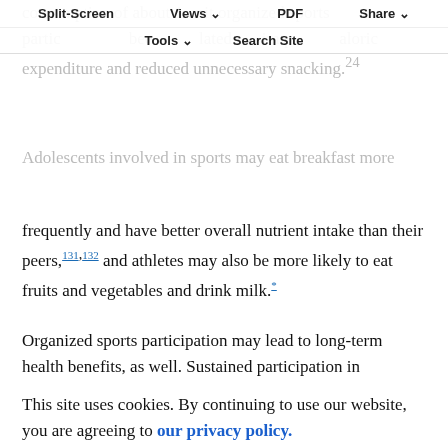consumption of about 1 unit organized sports participation has been associated with improved caloric expenditure and reduced unnecessary snacking.24
Split-Screen | Views | PDF | Share | Tools | Search Site
Adolescents involved in sports may eat breakfast more frequently and have better overall nutrient intake than their peers,131,132 and athletes may also be more likely to eat fruits and vegetables and drink milk.*
Organized sports participation may lead to long-term health benefits, as well. Sustained participation in organized sports is associated with a lower risk of developing metabolic syndrome in adulthood.133 In addition, kids who play ball sports during childhood appear to have a decreased risk of developing future cardiovascular disease. Continued participation in impact-loading sports has a positive effect on bone mineral composition, density, and geometry; benefits that may
This site uses cookies. By continuing to use our website, you are agreeing to our privacy policy. Accept